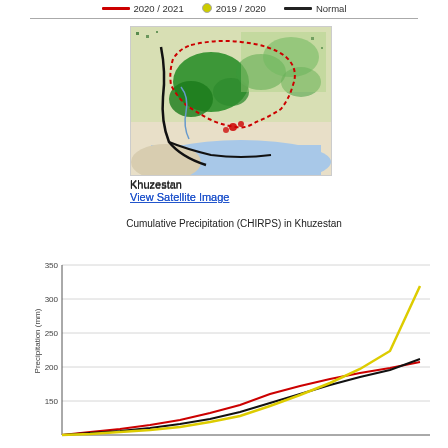[Figure (other): Legend bar showing three series: 2020/2021 (red line), 2019/2020 (yellow line), Normal (black line)]
[Figure (map): Vegetation/land cover map of Khuzestan region in Iran, showing green areas (vegetation), red dotted boundary of the region, blue water body at bottom, and black roads/rivers. Red markers near coastline.]
Khuzestan
View Satellite Image
[Figure (line-chart): Line chart showing cumulative precipitation over time for Khuzestan with three series: 2020/2021 (red), 2019/2020 (yellow), Normal (black). Values reach approximately 220, 305, and 255 mm respectively at the right edge. Y-axis shows 150, 200, 250, 300, 350. Lines begin rising steeply toward the right.]